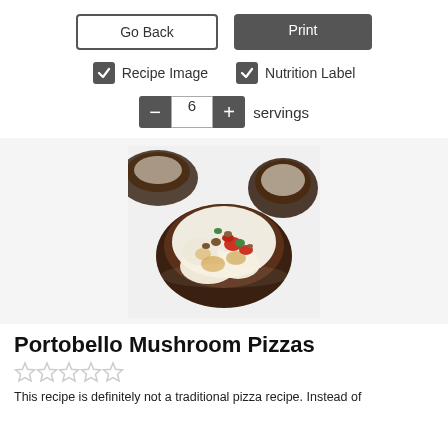[Figure (screenshot): UI controls: Go Back button (outlined), Print button (dark filled), checkboxes for Recipe Image and Nutrition Label, servings counter with minus button showing 6 and plus button]
[Figure (photo): Portobello mushroom pizzas topped with melted cheese, tomatoes, and vegetables on a light background]
Portobello Mushroom Pizzas
[Figure (other): Five empty star rating icons]
This recipe is definitely not a traditional pizza recipe. Instead of